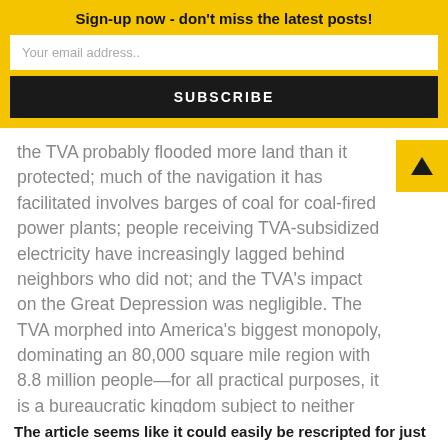Sign-up now - don't miss the latest posts!
Your email address..
SUBSCRIBE
the TVA probably flooded more land than it protected; much of the navigation it has facilitated involves barges of coal for coal-fired power plants; people receiving TVA-subsidized electricity have increasingly lagged behind neighbors who did not; and the TVA's impact on the Great Depression was negligible. The TVA morphed into America's biggest monopoly, dominating an 80,000 square mile region with 8.8 million people—for all practical purposes, it is a bureaucratic kingdom subject to neither public nor private controls.
The article seems like it could easily be rescripted for just